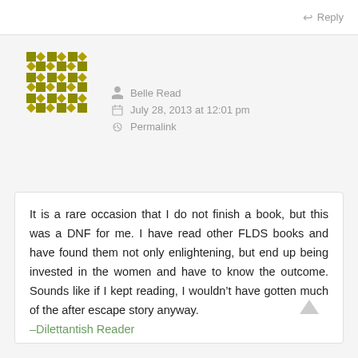Reply
[Figure (illustration): Decorative avatar/gravatar image: a grid of olive/gold colored square and diamond shapes arranged in a quilt-like pattern]
Belle Read
July 28, 2013 at 12:01 pm
Permalink
It is a rare occasion that I do not finish a book, but this was a DNF for me. I have read other FLDS books and have found them not only enlightening, but end up being invested in the women and have to know the outcome. Sounds like if I kept reading, I wouldn't have gotten much of the after escape story anyway.
–Dilettantish Reader